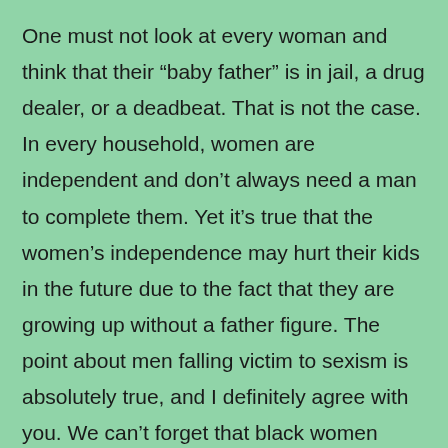One must not look at every woman and think that their “baby father” is in jail, a drug dealer, or a deadbeat. That is not the case. In every household, women are independent and don’t always need a man to complete them. Yet it’s true that the women’s independence may hurt their kids in the future due to the fact that they are growing up without a father figure. The point about men falling victim to sexism is absolutely true, and I definitely agree with you. We can’t forget that black women along with black men are victims of sexism.

Another part that grabbed my attention was at the and when you said, “The purpose of this documentary should have been to not only educate non-Blacks about the effect of slavery on Black America after 400 years with the help of the judicial system, but always to win the support and